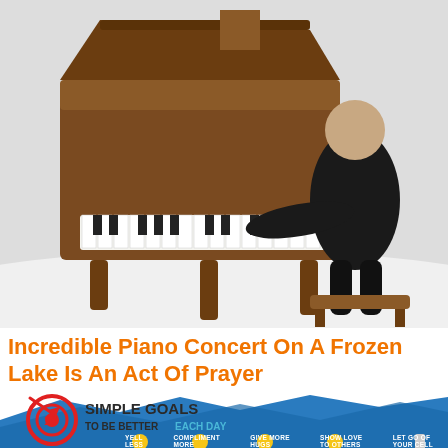[Figure (photo): Person in black clothing playing a wooden grand piano outdoors on a frozen lake, snow visible in the background]
Incredible Piano Concert On A Frozen Lake Is An Act Of Prayer
[Figure (infographic): Infographic titled '10 Simple Goals To Be Better Each Day' showing emoji icons with labels: YELL LESS, COMPLIMENT MORE, GIVE MORE HUGS, SHOW LOVE TO OTHERS, LET GO OF YOUR CELL. Red target/bullseye icon with the number 10 and an arrow on the left.]